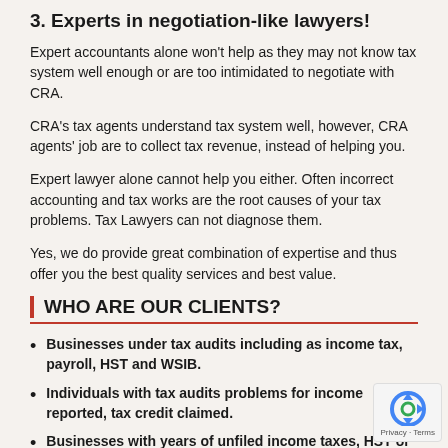3. Experts in negotiation-like lawyers!
Expert accountants alone won't help as they may not know tax system well enough or are too intimidated to negotiate with CRA.
CRA's tax agents understand tax system well, however, CRA agents' job are to collect tax revenue, instead of helping you.
Expert lawyer alone cannot help you either. Often incorrect accounting and tax works are the root causes of your tax problems. Tax Lawyers can not diagnose them.
Yes, we do provide great combination of expertise and thus offer you the best quality services and best value.
WHO ARE OUR CLIENTS?
Businesses under tax audits including as income tax, payroll, HST and WSIB.
Individuals with tax audits problems for income reported, tax credit claimed.
Businesses with years of unfiled income taxes, HST or